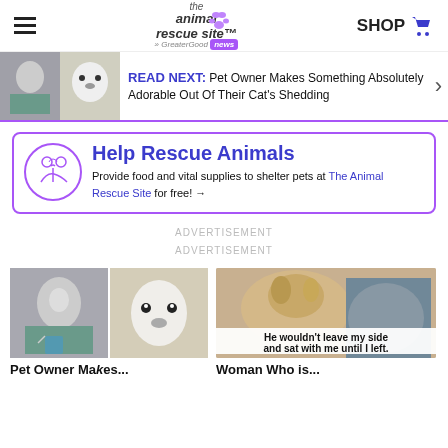the animal rescue site — GreaterGood — news | SHOP
READ NEXT: Pet Owner Makes Something Absolutely Adorable Out Of Their Cat's Shedding
Help Rescue Animals
Provide food and vital supplies to shelter pets at The Animal Rescue Site for free! →
ADVERTISEMENT
ADVERTISEMENT
[Figure (photo): Two photos: grey cat with clipped nails and a white polar bear figure made from cat fur]
Pet Owner Makes...
[Figure (photo): Photo of a light-colored dog resting on someone's lap with caption: He wouldn't leave my side and sat with me until I left.]
Woman Who is...